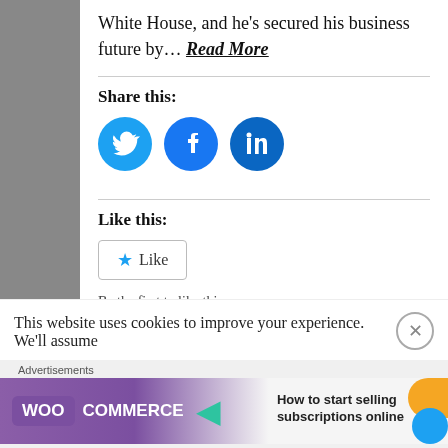White House, and he’s secured his business future by… Read More
Share this:
[Figure (infographic): Social sharing icons: Twitter (blue circle), Facebook (blue circle), LinkedIn (dark blue circle)]
Like this:
Like
Be the first to like this.
January 30, 2019
This website uses cookies to improve your experience. We’ll assume
Advertisements
[Figure (illustration): WooCommerce advertisement banner: purple background with WooCommerce logo and arrow, text reads 'How to start selling subscriptions online']